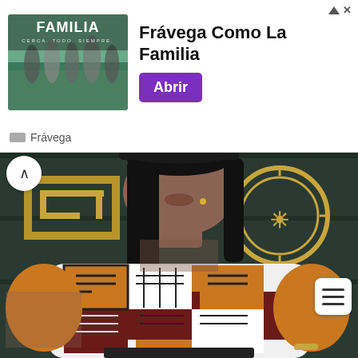[Figure (other): Advertisement banner for Frávega Como La Familia with image of people playing sports, title text, and purple 'Abrir' button]
[Figure (photo): Woman wearing colorful African print off-shoulder top with geometric patterns in orange, dark red, black and white, standing in front of decorative metal gate with gold medallion]